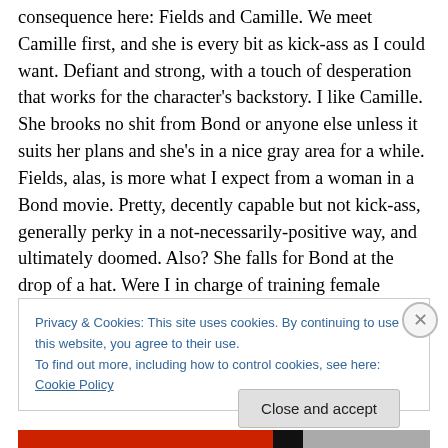consequence here: Fields and Camille. We meet Camille first, and she is every bit as kick-ass as I could want. Defiant and strong, with a touch of desperation that works for the character's backstory. I like Camille. She brooks no shit from Bond or anyone else unless it suits her plans and she's in a nice gray area for a while. Fields, alas, is more what I expect from a woman in a Bond movie. Pretty, decently capable but not kick-ass, generally perky in a not-necessarily-positive way, and ultimately doomed. Also? She falls for Bond at the drop of a hat. Were I in charge of training female agents who might ever come in contact
Privacy & Cookies: This site uses cookies. By continuing to use this website, you agree to their use.
To find out more, including how to control cookies, see here: Cookie Policy
Close and accept